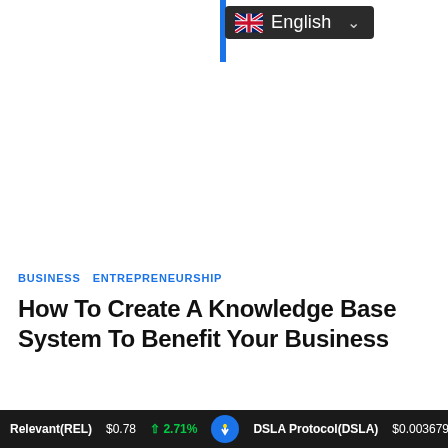English
BUSINESS   ENTREPRENEURSHIP
How To Create A Knowledge Base System To Benefit Your Business
Relevant(REL) $0.78 ↑ 2.71%   DSLA Protocol(DSLA) $0.003679 ↓